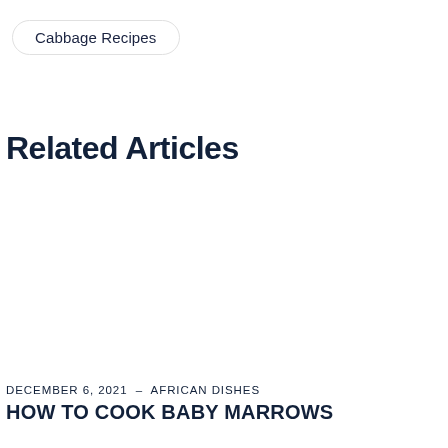Cabbage Recipes
Related Articles
DECEMBER 6, 2021 – AFRICAN DISHES
HOW TO COOK BABY MARROWS